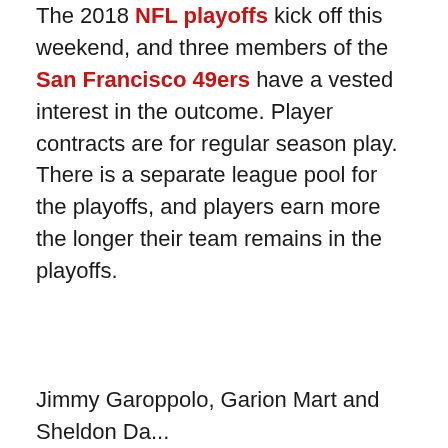The 2018 NFL playoffs kick off this weekend, and three members of the San Francisco 49ers have a vested interest in the outcome. Player contracts are for regular season play. There is a separate league pool for the playoffs, and players earn more the longer their team remains in the playoffs.
Jimmy Garoppolo, Garion Mart and Sheldon Da...